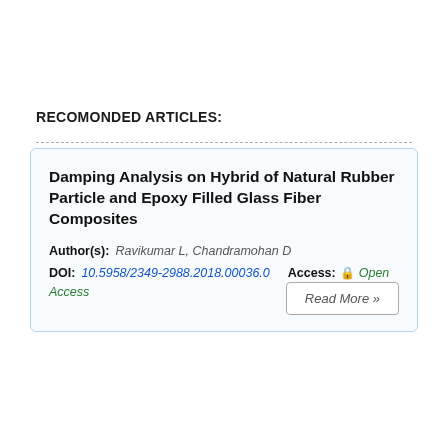RECOMONDED ARTICLES:
Damping Analysis on Hybrid of Natural Rubber Particle and Epoxy Filled Glass Fiber Composites
Author(s): Ravikumar L, Chandramohan D
DOI: 10.5958/2349-2988.2018.00036.0
Access: Open Access
Read More »